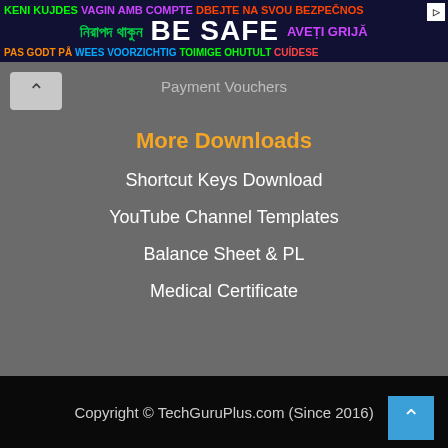[Figure (screenshot): Multilingual safety advertisement banner with text in multiple languages and 'BE SAFE' prominently displayed]
Payment Vouchers
More Downloads
Shortcut Keys Download
YouTube Channel Templates
Balance Sheet & PL
Medical Certificate
Copyright © TechGuruPlus.com (Since 2016)